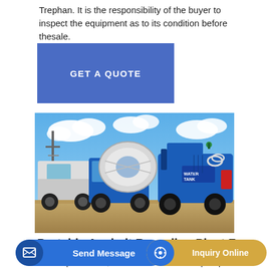Trephan. It is the responsibility of the buyer to inspect the equipment as to its condition before thesale.
GET A QUOTE
[Figure (photo): Photograph of heavy construction equipment including blue asphalt/concrete mixing trucks and machinery parked on dirt ground under a blue sky with white clouds.]
Portable Asphalt Recycling Plant For Sale
Michael Used Asphalt Plants, Used Portable 8 x 10 Deep Sloped
Send Message
Inquiry Online